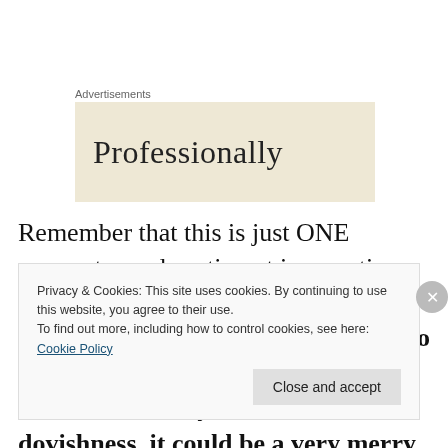Advertisements
[Figure (other): Advertisement banner with beige/tan background showing the word 'Professionally' in large serif font]
Remember that this is just ONE parameter and sentiment is sometimes dead wrong, especially with the Fed and ECB splashing more money onto the fire.  The Fed meeting is this Weds. and if they indicate more dovishness, it could be a very merry Christmas for
Privacy & Cookies: This site uses cookies. By continuing to use this website, you agree to their use.
To find out more, including how to control cookies, see here: Cookie Policy
Close and accept